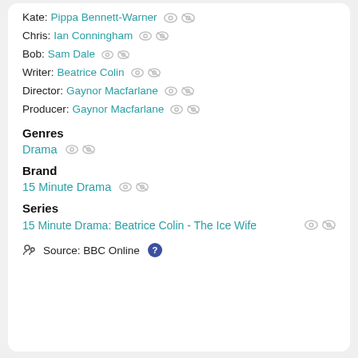Kate: Pippa Bennett-Warner
Chris: Ian Conningham
Bob: Sam Dale
Writer: Beatrice Colin
Director: Gaynor Macfarlane
Producer: Gaynor Macfarlane
Genres
Drama
Brand
15 Minute Drama
Series
15 Minute Drama: Beatrice Colin - The Ice Wife
Source: BBC Online